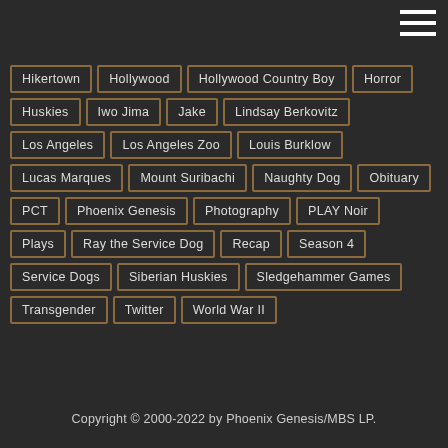Hikertown
Hollywood
Hollywood Country Boy
Horror
Huskies
Iwo Jima
Jake
Lindsay Berkovitz
Los Angeles
Los Angeles Zoo
Louis Burklow
Lucas Marques
Mount Suribachi
Naughty Dog
Obituary
PCT
Phoenix Genesis
Photography
PLAY Noir
Plays
Ray the Service Dog
Recap
Season 4
Service Dogs
Siberian Huskies
Sledgehammer Games
Transgender
Twitter
World War II
Copyright © 2000-2022 by Phoenix Genesis/MBS LP.